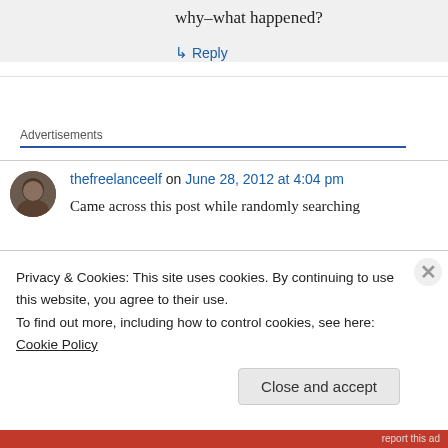why–what happened?
↳ Reply
Advertisements
thefreelanceelf on June 28, 2012 at 4:04 pm
Came across this post while randomly searching
Privacy & Cookies: This site uses cookies. By continuing to use this website, you agree to their use.
To find out more, including how to control cookies, see here: Cookie Policy
Close and accept